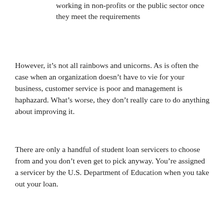working in non-profits or the public sector once they meet the requirements
However, it’s not all rainbows and unicorns. As is often the case when an organization doesn’t have to vie for your business, customer service is poor and management is haphazard. What’s worse, they don’t really care to do anything about improving it.
There are only a handful of student loan servicers to choose from and you don’t even get to pick anyway. You’re assigned a servicer by the U.S. Department of Education when you take out your loan.